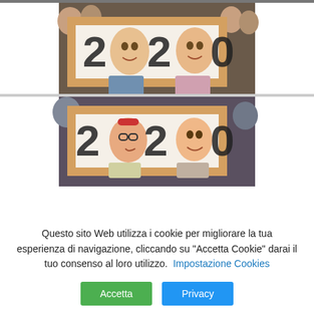[Figure (photo): Two photographs stacked vertically, each showing two people holding a wooden-framed sign with '2020' written on it, with faces peeking through the zeros. Top photo: an older man and woman smiling. Bottom photo: two women wearing glasses and scarves, smiling.]
Questo sito Web utilizza i cookie per migliorare la tua esperienza di navigazione, cliccando su "Accetta Cookie" darai il tuo consenso al loro utilizzo. Impostazione Cookies